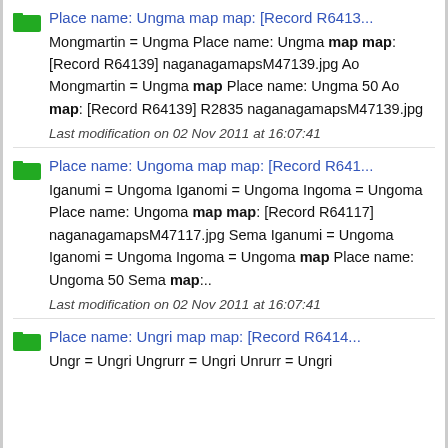Place name: Ungma map map: [Record R6413... Mongmartin = Ungma Place name: Ungma map map: [Record R64139] naganagamapsM47139.jpg Ao Mongmartin = Ungma map Place name: Ungma 50 Ao map: [Record R64139] R2835 naganagamapsM47139.jpg
Last modification on 02 Nov 2011 at 16:07:41
Place name: Ungoma map map: [Record R641... Iganumi = Ungoma Iganomi = Ungoma Ingoma = Ungoma Place name: Ungoma map map: [Record R64117] naganagamapsM47117.jpg Sema Iganumi = Ungoma Iganomi = Ungoma Ingoma = Ungoma map Place name: Ungoma 50 Sema map:..
Last modification on 02 Nov 2011 at 16:07:41
Place name: Ungri map map: [Record R6414... Ungr = Ungri Ungrurr = Ungri Unrurr = Ungri